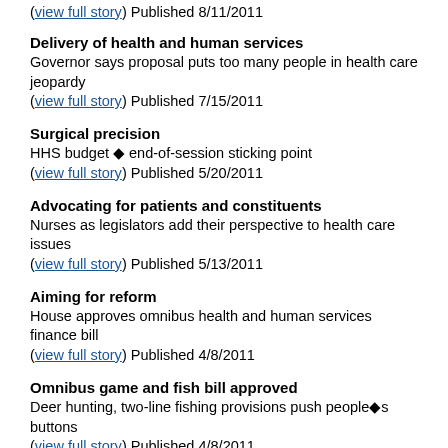(view full story) Published 8/11/2011
Delivery of health and human services
Governor says proposal puts too many people in health care jeopardy
(view full story) Published 7/15/2011
Surgical precision
HHS budget ◆ end-of-session sticking point
(view full story) Published 5/20/2011
Advocating for patients and constituents
Nurses as legislators add their perspective to health care issues
(view full story) Published 5/13/2011
Aiming for reform
House approves omnibus health and human services finance bill
(view full story) Published 4/8/2011
Omnibus game and fish bill approved
Deer hunting, two-line fishing provisions push people◆s buttons
(view full story) Published 4/8/2011